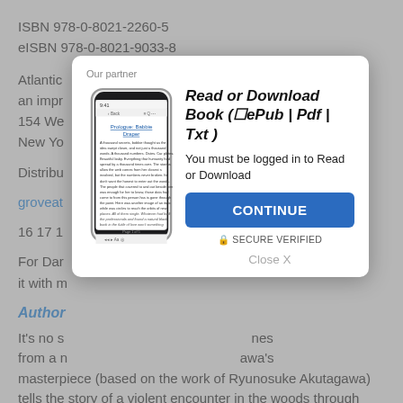ISBN 978-0-8021-2260-5
eISBN 978-0-8021-9033-8
Atlantic  an impr  154 We  New Yo
Distribu
groveat
16 17 1
For Dar  through it with m
Author
It's no s  from a n  awa's masterpiece (based on the work of Ryunosuke Akutagawa) tells the story of a violent encounter in the woods through the testimony of four characters. Each one recounts a
[Figure (screenshot): Modal popup with phone illustration showing a book reader app. Title reads 'Read or Download Book (☐ePub | Pdf | Txt)'. Subtitle: 'You must be logged in to Read or Download'. Blue CONTINUE button. Secure Verified label. Close X link at bottom. 'Our partner' label at top.]